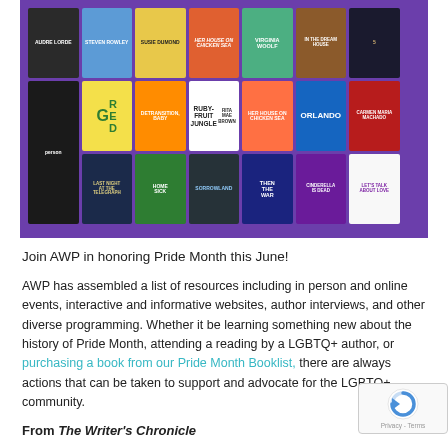[Figure (photo): Collection of LGBTQ+ book covers arranged in a grid on a purple background, including titles like Rubyfruit Jungle, Orlando, In the Dream House, Cinderella Is Dead, Let's Talk About Love, Homesick, and others by authors including Rita Mae Brown, Virginia Woolf, Carmen Maria Machado, and more.]
Join AWP in honoring Pride Month this June!
AWP has assembled a list of resources including in person and online events, interactive and informative websites, author interviews, and other diverse programming. Whether it be learning something new about the history of Pride Month, attending a reading by a LGBTQ+ author, or purchasing a book from our Pride Month Booklist, there are always actions that can be taken to support and advocate for the LGBTQ+ community.
From The Writer's Chronicle
Nonfiction/Nonbinary Literary Identities: An Investigation of Contemporary Writers Queering Gen(der/re) in America by Che Houser, April 2021